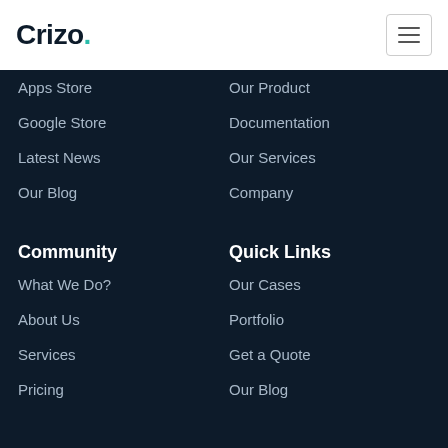Crizo.
Apps Store
Our Product
Google Store
Documentation
Latest News
Our Services
Our Blog
Company
Community
Quick Links
What We Do?
Our Cases
About Us
Portfolio
Services
Get a Quote
Pricing
Our Blog